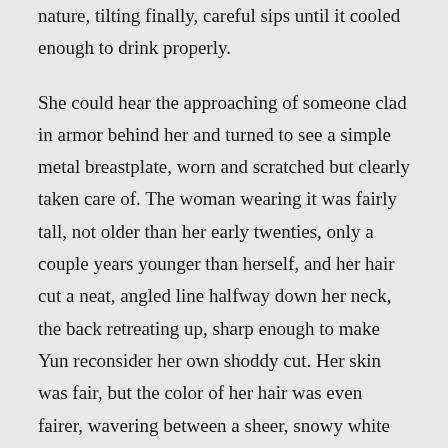nature, tilting finally, careful sips until it cooled enough to drink properly.
She could hear the approaching of someone clad in armor behind her and turned to see a simple metal breastplate, worn and scratched but clearly taken care of. The woman wearing it was fairly tall, not older than her early twenties, only a couple years younger than herself, and her hair cut a neat, angled line halfway down her neck, the back retreating up, sharp enough to make Yun reconsider her own shoddy cut. Her skin was fair, but the color of her hair was even fairer, wavering between a sheer, snowy white and a hazy sky blue. There was something to her more than her straightforward appearance betrayed, but Yun couldn't quite place it.